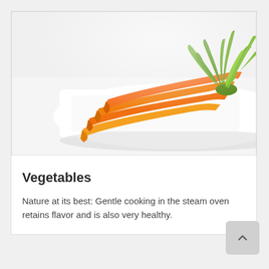[Figure (photo): A bunch of fresh orange carrots with green tops arranged on a white cutting board against a white background.]
Vegetables
Nature at its best: Gentle cooking in the steam oven retains flavor and is also very healthy.